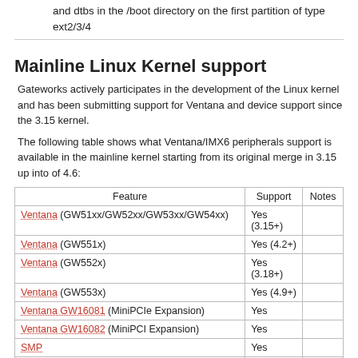and dtbs in the /boot directory on the first partition of type ext2/3/4
Mainline Linux Kernel support
Gateworks actively participates in the development of the Linux kernel and has been submitting support for Ventana and device support since the 3.15 kernel.
The following table shows what Ventana/IMX6 peripherals support is available in the mainline kernel starting from its original merge in 3.15 up into of 4.6:
| Feature | Support | Notes |
| --- | --- | --- |
| Ventana (GW51xx/GW52xx/GW53xx/GW54xx) | Yes (3.15+) |  |
| Ventana (GW551x) | Yes (4.2+) |  |
| Ventana (GW552x) | Yes (3.18+) |  |
| Ventana (GW553x) | Yes (4.9+) |  |
| Ventana GW16081 (MiniPCIe Expansion) | Yes |  |
| Ventana GW16082 (MiniPCI Expansion) | Yes |  |
| SMP | Yes |  |
| eth0 (fec) | Yes |  |
| eth1 (igb/sky2) | Yes |  |
| serial (RS232 / RS485 / GPS) | Yes |  |